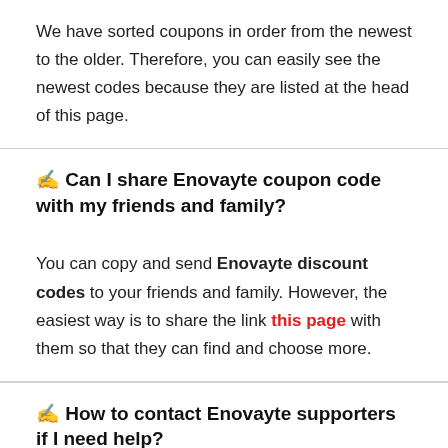We have sorted coupons in order from the newest to the older. Therefore, you can easily see the newest codes because they are listed at the head of this page.
✍ Can I share Enovayte coupon code with my friends and family?
You can copy and send Enovayte discount codes to your friends and family. However, the easiest way is to share the link this page with them so that they can find and choose more.
✍ How to contact Enovayte supporters if I need help?
You can contact them...